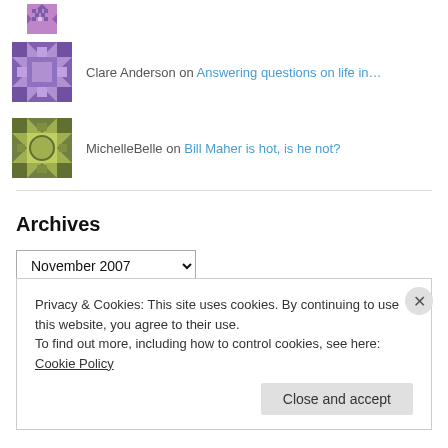[Figure (illustration): Partial pixelated avatar icon in purple/violet colors at the top of the page (cropped)]
Clare Anderson on Answering questions on life in…
[Figure (illustration): Pixelated avatar icon with green/olive geometric pattern]
MichelleBelle on Bill Maher is hot, is he not?
Archives
November 2007 (dropdown)
Privacy & Cookies: This site uses cookies. By continuing to use this website, you agree to their use.
To find out more, including how to control cookies, see here: Cookie Policy
Close and accept